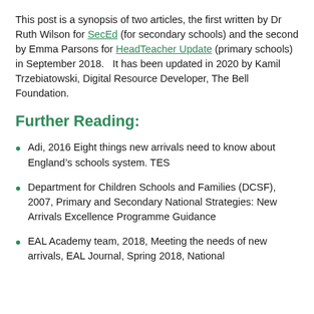This post is a synopsis of two articles, the first written by Dr Ruth Wilson for SecEd (for secondary schools) and the second by Emma Parsons for HeadTeacher Update (primary schools) in September 2018.   It has been updated in 2020 by Kamil Trzebiatowski, Digital Resource Developer, The Bell Foundation.
Further Reading:
Adi, 2016 Eight things new arrivals need to know about England's schools system. TES
Department for Children Schools and Families (DCSF), 2007, Primary and Secondary National Strategies: New Arrivals Excellence Programme Guidance
EAL Academy team, 2018, Meeting the needs of new arrivals, EAL Journal, Spring 2018, National